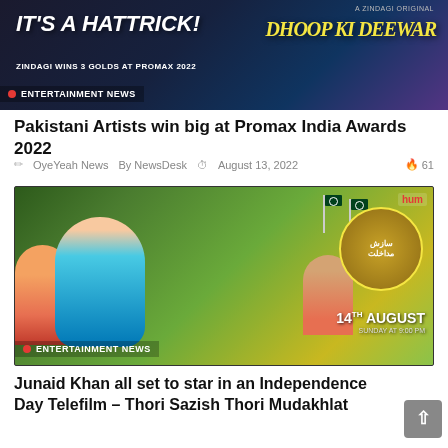[Figure (photo): Entertainment news image showing 'IT'S A HATTRICK! ZINDAGI WINS 3 GOLDS AT PROMAX 2022' text on left with ENTERTAINMENT NEWS badge, and 'DHOOP KI DEEWAR' Zindagi Original show on right]
Pakistani Artists win big at Promax India Awards 2022
OyeYeah News  By NewsDesk  August 13, 2022  61
[Figure (photo): Entertainment news image for 'Thori Sazish Thori Mudakhlat' telefilm showing actors including Junaid Khan, premiering 14th August Sunday at 9:00 PM on Hum TV, with ENTERTAINMENT NEWS badge]
Junaid Khan all set to star in an Independence Day Telefilm – Thori Sazish Thori Mudakhlat